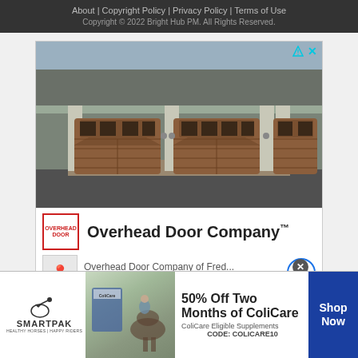About | Copyright Policy | Privacy Policy | Terms of Use
Copyright © 2022 Bright Hub PM. All Rights Reserved.
[Figure (photo): Advertisement showing a house with three wooden arched garage doors, Overhead Door Company™ brand ad with location info for Fredericksburg 7AM–4PM, ezoic ad platform label]
[Figure (photo): SmartPak banner advertisement showing 50% Off Two Months of ColiCare, ColiCare Eligible Supplements, CODE: COLICARE10, with horse and rider image]